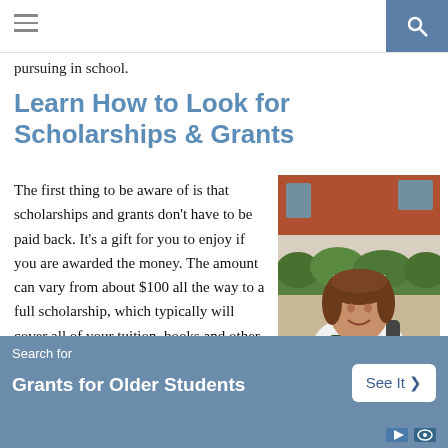[navigation bar with hamburger menu and search icon]
pursuing in school.
Learn How to Look for Scholarships & Grants
The first thing to be aware of is that scholarships and grants don't have to be paid back. It's a gift for you to enjoy if you are awarded the money. The amount can vary from about $100 all the way to a full scholarship, which typically will cover all of your tuition, books and other expenses.
[Figure (photo): A smiling young female student holding books, standing in front of a brick building with green hedges, wearing a white polo shirt and backpack.]
Search for
Grants for Older Students
See It >